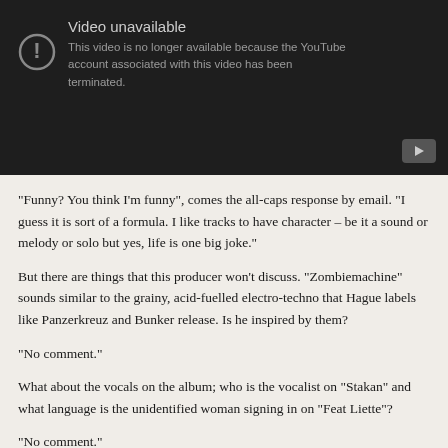[Figure (screenshot): YouTube video unavailable message on dark background. Shows an exclamation mark icon, title 'Video unavailable', and text 'This video is no longer available because the YouTube account associated with this video has been terminated.' A YouTube play button icon appears in the bottom right corner.]
“Funny? You think I’m funny”, comes the all-caps response by email. “I guess it is sort of a formula. I like tracks to have character – be it a sound or melody or solo but yes, life is one big joke.”
But there are things that this producer won’t discuss. “Zombiemachine” sounds similar to the grainy, acid-fuelled electro-techno that Hague labels like Panzerkreuz and Bunker release. Is he inspired by them?
“No comment.”
What about the vocals on the album; who is the vocalist on “Stakan” and what language is the unidentified woman signing in on “Feat Liette”?
“No comment.”